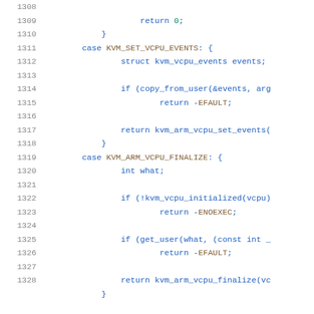Source code listing, lines 1308-1328, C kernel code for KVM ARM VCPU events and finalize cases